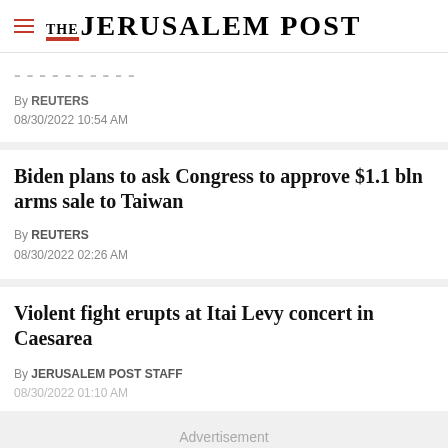THE JERUSALEM POST
By REUTERS
08/30/2022 10:54 AM
Biden plans to ask Congress to approve $1.1 bln arms sale to Taiwan
By REUTERS
08/30/2022 02:26 AM
Violent fight erupts at Itai Levy concert in Caesarea
By JERUSALEM POST STAFF
08/30/2022 01:10 AM
Advertisement